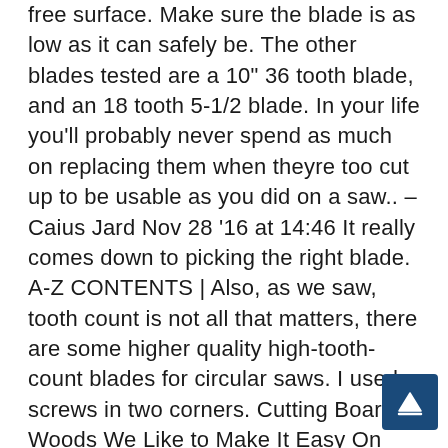free surface. Make sure the blade is as low as it can safely be. The other blades tested are a 10" 36 tooth blade, and an 18 tooth 5-1/2 blade. In your life you'll probably never spend as much on replacing them when theyre too cut up to be usable as you did on a saw.. – Caius Jard Nov 28 '16 at 14:46 It really comes down to picking the right blade. A-Z CONTENTS | Also, as we saw, tooth count is not all that matters, there are some higher quality high-tooth-count blades for circular saws. I used screws in two corners. Cutting Board Woods We Like to Make It Easy On You You can make unique and special cutting boards out of many different hardwoods because all you need is a wood that's hard, dense, and tight grained. Also keep several blade options on hand for your hand power tools, such as circular saws and jigsaws/ saber saws. Turn on the saw. If I would push harder then the kept going but made a wobbly cut. A good start goes